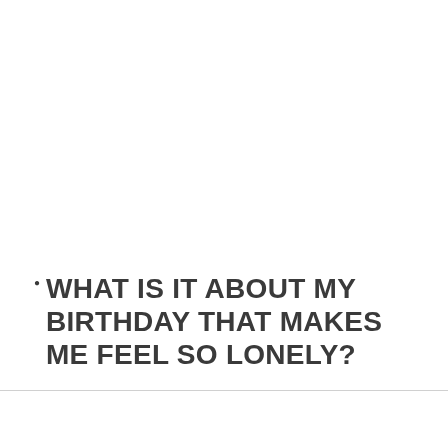WHAT IS IT ABOUT MY BIRTHDAY THAT MAKES ME FEEL SO LONELY?